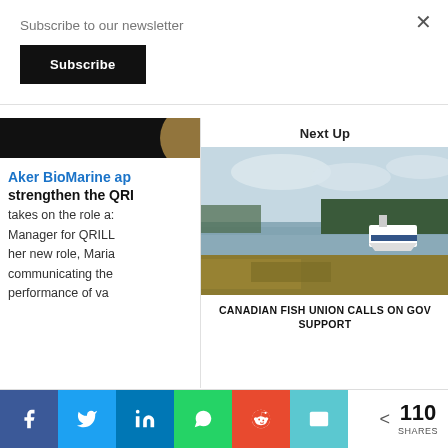Subscribe to our newsletter
Subscribe
[Figure (photo): Top strip of a dark photo with golden/amber circular shapes on right side]
Next Up
Aker BioMarine ap… strengthen the QRI…
takes on the role a… Manager for QRILL… her new role, Maria… communicating the… performance of va…
[Figure (photo): A fishing boat moored near a rocky shore with low tide seaweed exposed, trees in background, partly cloudy sky]
CANADIAN FISH UNION CALLS ON GOV… SUPPORT
< 110 SHARES